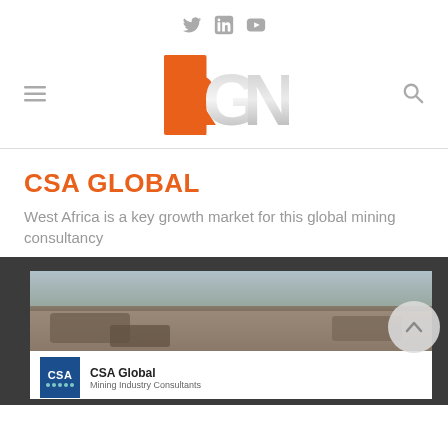RGN - social icons and logo header
CSA GLOBAL
West Africa is a key growth market for this global mining consultancy
[Figure (screenshot): Screenshot of CSA Global Mining Industry Consultants page with rocky terrain image and CSA logo]